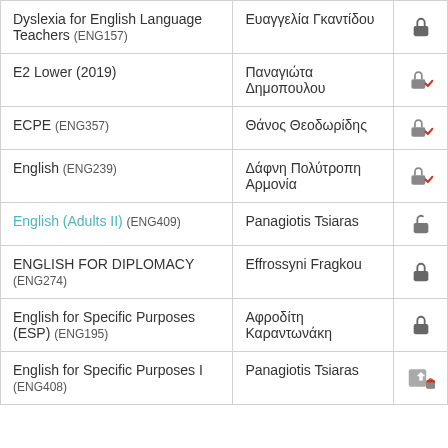| Course | Instructor | Access |
| --- | --- | --- |
| Dyslexia for English Language Teachers (ENG157) | Ευαγγελία Γκαντίδου | [locked] |
| E2 Lower (2019) | Παναγιώτα Δημοπουλου | [locked+check] |
| ECPE (ENG357) | Θάνος Θεοδωρίδης | [locked+check] |
| English (ENG239) | Δάφνη Πολύτροπη Αρμονία | [locked+check] |
| English (Adults II) (ENG409) | Panagiotis Tsiaras | [unlocked] |
| ENGLISH FOR DIPLOMACY (ENG274) | Effrossyni Fragkou | [locked] |
| English for Specific Purposes (ESP) (ENG195) | Αφροδίτη Καραντωνάκη | [locked] |
| English for Specific Purposes I (ENG408) | Panagiotis Tsiaras | [locked+up] |